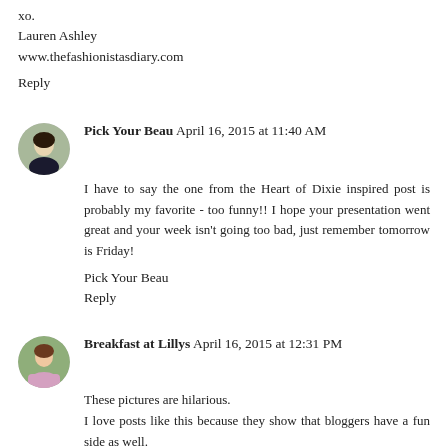xo.
Lauren Ashley
www.thefashionistasdiary.com
Reply
Pick Your Beau  April 16, 2015 at 11:40 AM
I have to say the one from the Heart of Dixie inspired post is probably my favorite - too funny!! I hope your presentation went great and your week isn't going too bad, just remember tomorrow is Friday!
Pick Your Beau
Reply
Breakfast at Lillys  April 16, 2015 at 12:31 PM
These pictures are hilarious.
I love posts like this because they show that bloggers have a fun side as well.